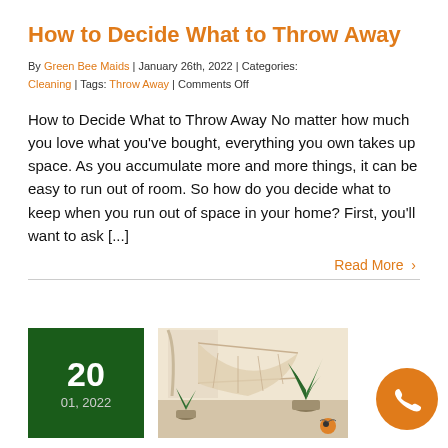How to Decide What to Throw Away
By Green Bee Maids | January 26th, 2022 | Categories: Cleaning | Tags: Throw Away | Comments Off
How to Decide What to Throw Away No matter how much you love what you've bought, everything you own takes up space. As you accumulate more and more things, it can be easy to run out of room. So how do you decide what to keep when you run out of space in your home? First, you'll want to ask [...]
Read More >
[Figure (photo): Blog post thumbnail showing date block '20 01, 2022' in dark green and a room interior with hammock and plants]